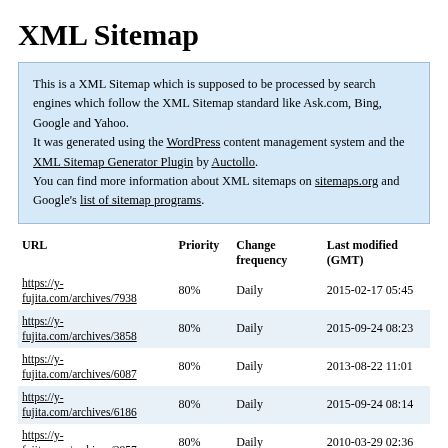XML Sitemap
This is a XML Sitemap which is supposed to be processed by search engines which follow the XML Sitemap standard like Ask.com, Bing, Google and Yahoo. It was generated using the WordPress content management system and the XML Sitemap Generator Plugin by Auctollo. You can find more information about XML sitemaps on sitemaps.org and Google's list of sitemap programs.
| URL | Priority | Change frequency | Last modified (GMT) |
| --- | --- | --- | --- |
| https://y-fujita.com/archives/7938 | 80% | Daily | 2015-02-17 05:45 |
| https://y-fujita.com/archives/3858 | 80% | Daily | 2015-09-24 08:23 |
| https://y-fujita.com/archives/6087 | 80% | Daily | 2013-08-22 11:01 |
| https://y-fujita.com/archives/6186 | 80% | Daily | 2015-09-24 08:14 |
| https://y-fujita.com/archives/3857 | 80% | Daily | 2010-03-29 02:36 |
| https://y-fujita.com/archives/3859 | 80% | Daily | 2010-03-28 14:25 |
| https://y-fujita.com/archives/3404 | 80% | Daily | 2010-03-26 04:27 |